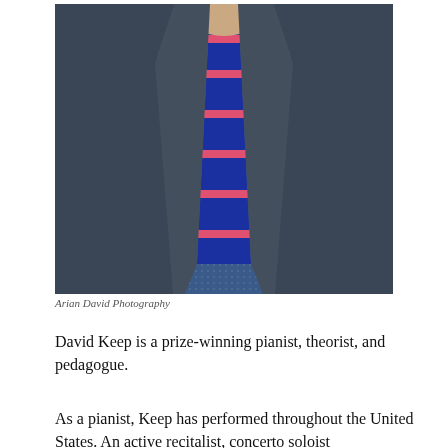[Figure (photo): Portrait photo of David Keep, a man wearing a dark navy suit jacket, blue dotted shirt, and a navy and pink striped tie. The photo shows him from the chest up against a blurred background. Photo credit: Arian David Photography.]
Arian David Photography
David Keep is a prize-winning pianist, theorist, and pedagogue.
As a pianist, Keep has performed throughout the United States. An active recitalist, concerto soloist